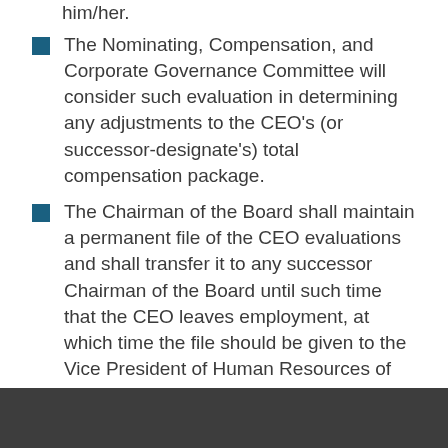him/her.
The Nominating, Compensation, and Corporate Governance Committee will consider such evaluation in determining any adjustments to the CEO's (or successor-designate's) total compensation package.
The Chairman of the Board shall maintain a permanent file of the CEO evaluations and shall transfer it to any successor Chairman of the Board until such time that the CEO leaves employment, at which time the file should be given to the Vice President of Human Resources of the Corporation.